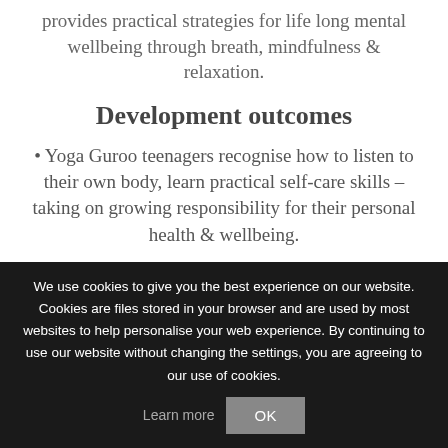provides practical strategies for life long mental wellbeing through breath, mindfulness & relaxation.
Development outcomes
Yoga Guroo teenagers recognise how to listen to their own body, learn practical self-care skills – taking on growing responsibility for their personal health & wellbeing.
Developing & nurturing character traits that…
We use cookies to give you the best experience on our website. Cookies are files stored in your browser and are used by most websites to help personalise your web experience. By continuing to use our website without changing the settings, you are agreeing to our use of cookies. Learn more OK